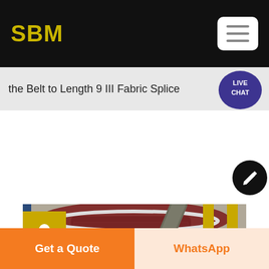SBM
the Belt to Length 9 III Fabric Splice
[Figure (photo): Industrial machinery photo showing a large cylindrical grey tank or crusher body with bolted steel panels, surrounded by yellow scaffolding/safety railings and a diagonal metal pipe/rod in the foreground. Industrial facility setting.]
Get a Quote
WhatsApp